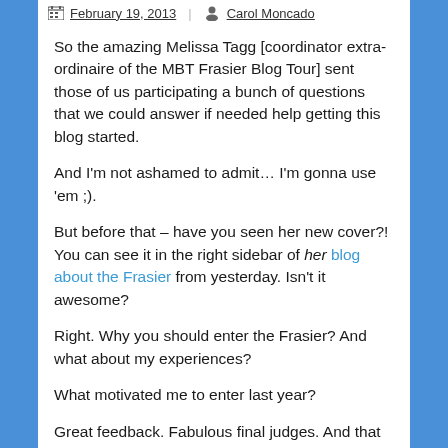February 19, 2013   Carol Moncado
So the amazing Melissa Tagg [coordinator extra-ordinaire of the MBT Frasier Blog Tour] sent those of us participating a bunch of questions that we could answer if needed help getting this blog started.
And I'm not ashamed to admit… I'm gonna use 'em ;).
But before that – have you seen her new cover?! You can see it in the right sidebar of her blog about the Frasier from yesterday. Isn't it awesome?
Right. Why you should enter the Frasier? And what about my experiences?
What motivated me to enter last year?
Great feedback. Fabulous final judges. And that